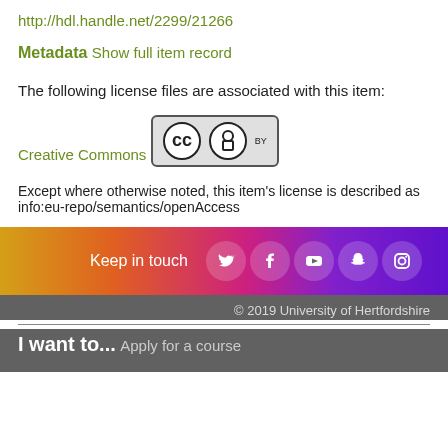http://hdl.handle.net/2299/21266
Metadata
Show full item record
The following license files are associated with this item:
Creative Commons
[Figure (logo): Creative Commons BY license badge — CC circle logo and BY circle logo with 'BY' text below]
Except where otherwise noted, this item's license is described as info:eu-repo/semantics/openAccess
[Figure (infographic): Footer bar with gradient background (yellow to purple) containing 'Keep in touch' text and social media icons for Twitter, Facebook, YouTube, Snapchat, and Instagram]
© 2019 University of Hertfordshire
I want to...
Apply for a course